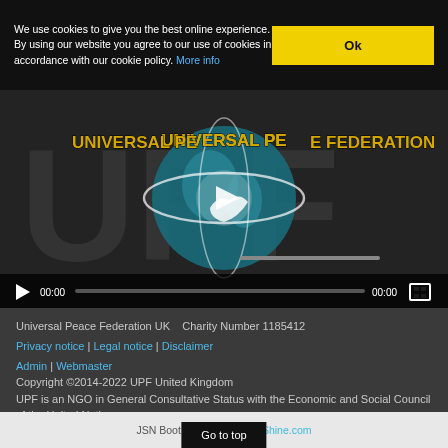We use cookies to give you the best online experience. By using our website you agree to our use of cookies in accordance with our cookie policy. More info
[Figure (screenshot): Universal Peace Federation video player showing globe logo with text 'UNIVERSAL PEACE FEDERATION' and play button overlay, with video controls showing 00:00 / 00:00]
Universal Peace Federation UK   Charity Number 1185412
Privacy notice | Legal notice | Disclaimer
Admin | Webmaster
Copyright ©2014-2022 UPF United Kingdom
UPF is an NGO in General Consultative Status with the Economic and Social Council of the United Nations
UPF Network created by Ripplenet Web Design
JSN Boot template design ... aShine.com